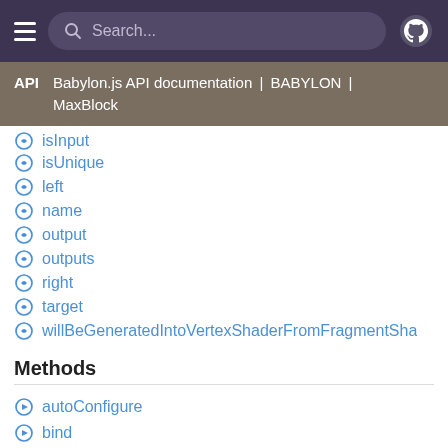Search...
API | Babylon.js API documentation | BABYLON | MaxBlock
isInput
isUnique
left
name
output
outputs
right
target
willBeGeneratedIntoVertexShaderFromFragmentSha
Methods
autoConfigure
bind
build